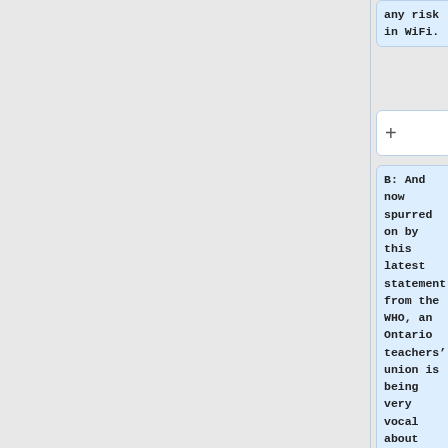any risk in WiFi.
+
B: And now spurred on by this latest statement from the WHO, an Ontario teachers’ union is being very vocal about calling for an end to any new WiFi setups in schools, and the